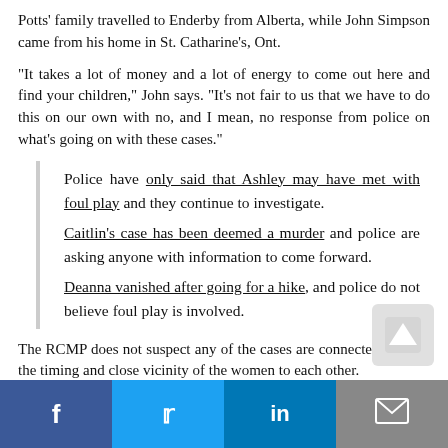Potts' family travelled to Enderby from Alberta, while John Simpson came from his home in St. Catharine's, Ont.
“It takes a lot of money and a lot of energy to come out here and find your children,” John says. “It’s not fair to us that we have to do this on our own with no, and I mean, no response from police on what’s going on with these cases.”
Police have only said that Ashley may have met with foul play and they continue to investigate. Caitlin’s case has been deemed a murder and police are asking anyone with information to come forward. Deanna vanished after going for a hike, and police do not believe foul play is involved.
The RCMP does not suspect any of the cases are connected, despite the timing and close vicinity of the women to each other.